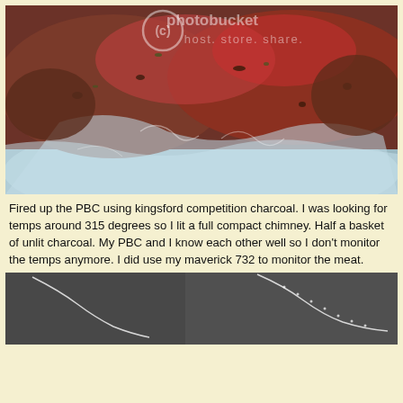[Figure (photo): Photo of raw marinated meat in a vacuum-sealed plastic bag, with a Photobucket watermark overlay reading 'photobucket' and 'host. store. share.']
Fired up the PBC using kingsford competition charcoal. I was looking for temps around 315 degrees so I lit a full compact chimney. Half a basket of unlit charcoal. My PBC and I know each other well so I don't monitor the temps anymore. I did use my maverick 732 to monitor the meat.
[Figure (photo): Partial photo at bottom of page showing a dark/grey smoker or grill surface with white temperature probe wires visible.]